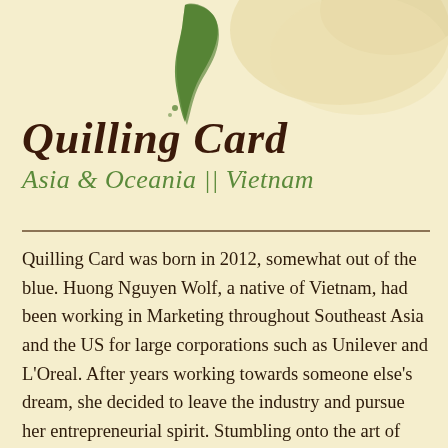[Figure (map): Partial map of Asia and Oceania region showing Vietnam highlighted in green, with surrounding landmasses in light beige/cream tones visible at top of page]
Quilling Card
Asia & Oceania || Vietnam
Quilling Card was born in 2012, somewhat out of the blue. Huong Nguyen Wolf, a native of Vietnam, had been working in Marketing throughout Southeast Asia and the US for large corporations such as Unilever and L'Oreal. After years working towards someone else's dream, she decided to leave the industry and pursue her entrepreneurial spirit. Stumbling onto the art of quilling with her husband, Rafo